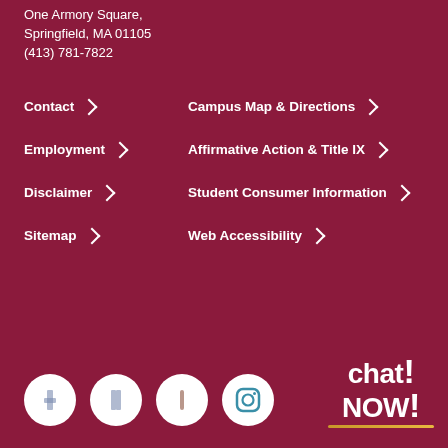One Armory Square,
Springfield, MA 01105
(413) 781-7822
Contact
Campus Map & Directions
Employment
Affirmative Action & Title IX
Disclaimer
Student Consumer Information
Sitemap
Web Accessibility
[Figure (infographic): Four social media icon circles (Facebook, Twitter/X, Pinterest, Instagram) and a Chat Now! button with gold underline]